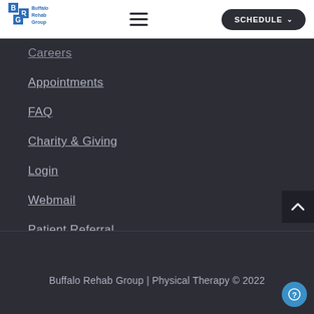[Figure (logo): Buffalo Rehab Group logo with blue BRG letter blocks and text]
Careers
Appointments
FAQ
Charity & Giving
Login
Webmail
Patient Referral
Privacy Policy
Buffalo Rehab Group | Physical Therapy © 2022